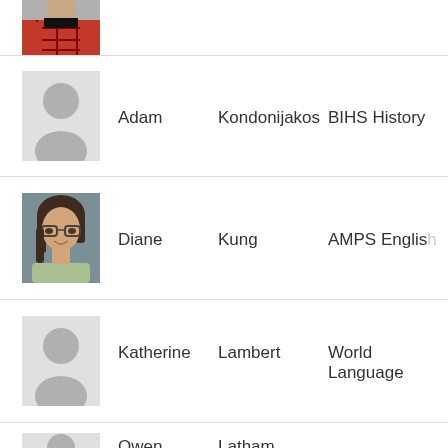[Figure (photo): Partial photo of a person in a red plaid shirt, cropped at top]
| Photo | First Name | Last Name | Department |
| --- | --- | --- | --- |
| [placeholder] | Adam | Kondonijakos | BIHS History |
| [photo] | Diane | Kung | AMPS English |
| [placeholder] | Katherine | Lambert | World Language |
| [placeholder] | Owen | Latham |  |
Translate »